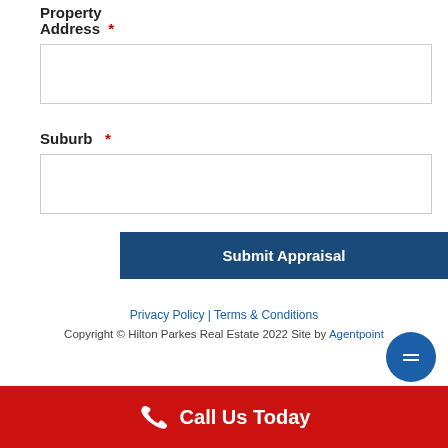Property Address *
[Figure (other): Empty text input field for Property Address]
Suburb *
[Figure (other): Empty text input field for Suburb]
Submit Appraisal
Privacy Policy | Terms & Conditions
Copyright © Hilton Parkes Real Estate 2022 Site by Agentpoint
Call Us Today